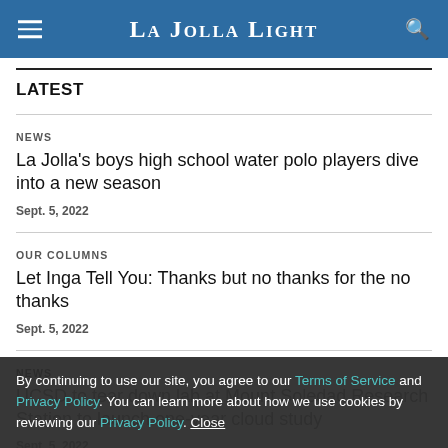La Jolla Light
LATEST
NEWS
La Jolla's boys high school water polo players dive into a new season
Sept. 5, 2022
OUR COLUMNS
Let Inga Tell You: Thanks but no thanks for the no thanks
Sept. 5, 2022
NEWS
UCSD to tear down lab at Mount Soledad Research Station to launch one-year cloud study
Sept. 5, 2022
By continuing to use our site, you agree to our Terms of Service and Privacy Policy. You can learn more about how we use cookies by reviewing our Privacy Policy. Close